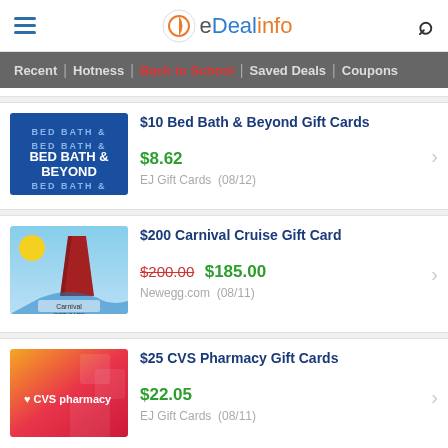eDealinfo — hamburger menu, logo, search icon
Recent | Hotness | Back to School | Saved Deals | Coupons
$10 Bed Bath & Beyond Gift Cards — $8.62 — EJ Gift Cards (08/12)
$200 Carnival Cruise Gift Card — $200.00 $185.00 — Newegg.com (08/11)
$25 CVS Pharmacy Gift Cards — $22.05 — EJ Gift Cards (08/11)